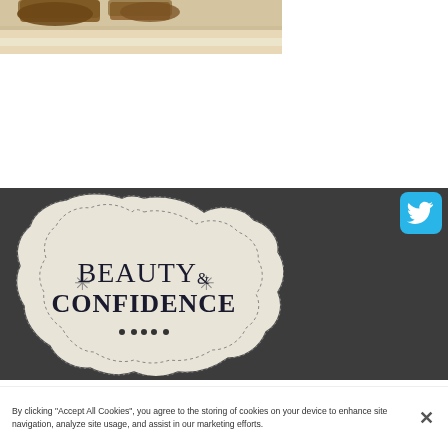[Figure (photo): Cropped photo showing feet/legs on a wooden floor surface, warm tones]
[Figure (infographic): Navigation pagination buttons: Prev, 1, Next on light olive background]
[Figure (illustration): Dark charcoal banner with a ornate badge shape containing the text BEAUTY & CONFIDENCE with decorative dots, flanked by snowflake/asterisk ornaments. Twitter bird icon in blue in upper right.]
By clicking “Accept All Cookies”, you agree to the storing of cookies on your device to enhance site navigation, analyze site usage, and assist in our marketing efforts.